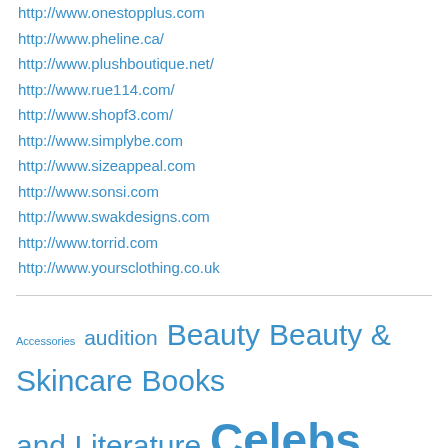http://www.onestopplus.com
http://www.pheline.ca/
http://www.plushboutique.net/
http://www.rue114.com/
http://www.shopf3.com/
http://www.simplybe.com
http://www.sizeappeal.com
http://www.sonsi.com
http://www.swakdesigns.com
http://www.torrid.com
http://www.yoursclothing.co.uk
Accessories audition Beauty Beauty & Skincare Books and Literature Celebs Children clothing Contest/Competition Designer Electronics Entertainment Fashion fashion